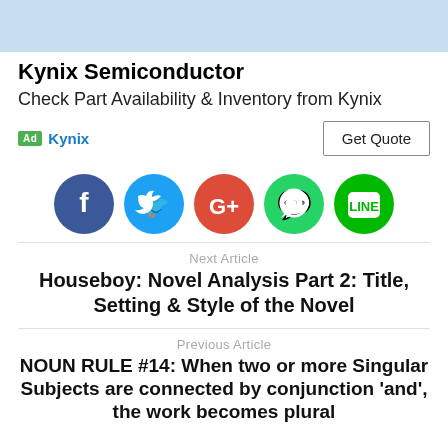[Figure (other): Light blue banner image at top of page]
Kynix Semiconductor
Check Part Availability & Inventory from Kynix
Ad  Kynix
[Figure (infographic): Social media share buttons: Facebook (dark blue), Twitter (blue), Google+ (red-orange), WhatsApp (green), Line (green)]
Next Article
Houseboy: Novel Analysis Part 2: Title, Setting & Style of the Novel
Previous Article
NOUN RULE #14: When two or more Singular Subjects are connected by conjunction 'and', the work becomes plural